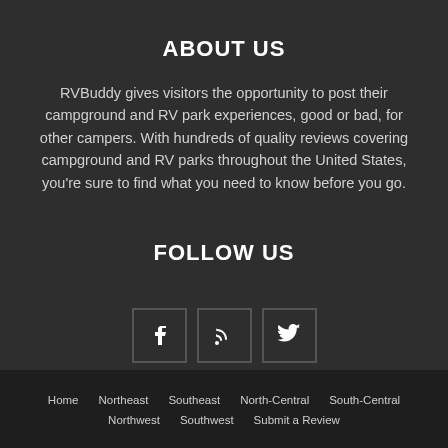ABOUT US
RVBuddy gives visitors the opportunity to post their campground and RV park experiences, good or bad, for other campers. With hundreds of quality reviews covering campground and RV parks throughout the United States, you're sure to find what you need to know before you go.
FOLLOW US
[Figure (infographic): Three social media icon boxes: Facebook (f), RSS feed, and Twitter (bird icon)]
Home  Northeast  Southeast  North-Central  South-Central  Northwest  Southwest  Submit a Review